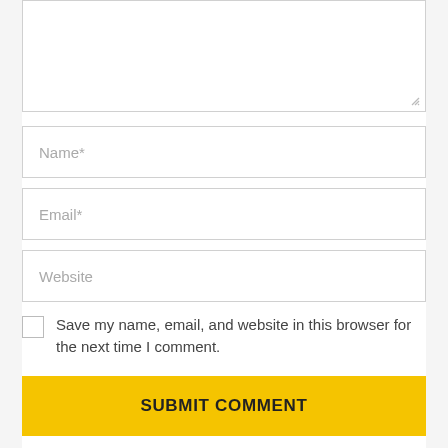[Figure (screenshot): Partial textarea input box at top of page, showing a resizable text area with dotted resize handle at bottom right]
Name*
Email*
Website
Save my name, email, and website in this browser for the next time I comment.
SUBMIT COMMENT